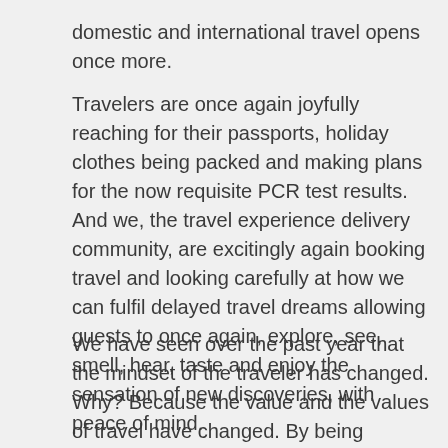domestic and international travel opens once more.
Travelers are once again joyfully reaching for their passports, holiday clothes being packed and making plans for the now requisite PCR test results. And we, the travel experience delivery community, are excitingly again booking travel and looking carefully at how we can fulfil delayed travel dreams allowing guests to once again, explore, see, smell, hear, taste and enjoy the sensation of new discoveries, with peace of mind.
We have seen over the past year that the mindset of the traveler has changed. Why? Because the value and the values of travel have changed. By being grounded, not only has there been a strong